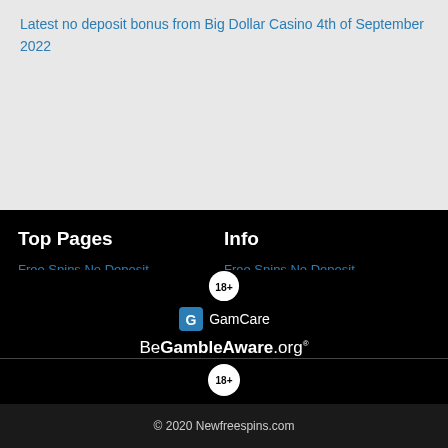Latest no deposit bonus from Big Dollar Casino 4th of September 2022
Top Pages
Free Spins No Deposit
Info
Free Spins No Deposit
Cookie & Privacy Policy
[Figure (logo): 18+ badge, GamCare logo, BeGambleAware.org logo]
© 2020 Newfreespins.com